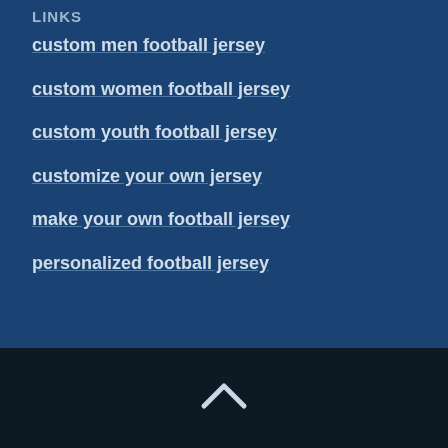LINKS
custom men football jersey
custom women football jersey
custom youth football jersey
customize your own jersey
make your own football jersey
personalized football jersey